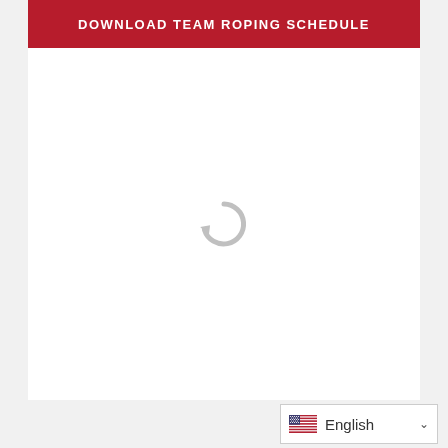DOWNLOAD TEAM ROPING SCHEDULE
[Figure (other): Loading spinner icon (gray circular arrow indicating content is loading)]
English